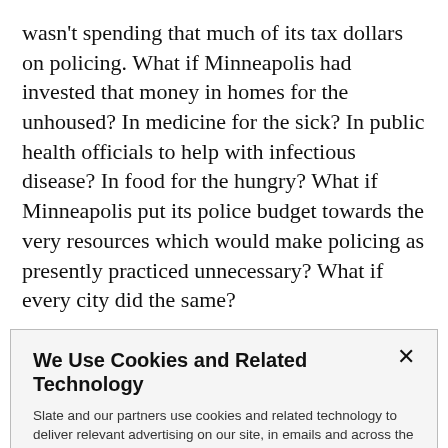wasn't spending that much of its tax dollars on policing. What if Minneapolis had invested that money in homes for the unhoused? In medicine for the sick? In public health officials to help with infectious disease? In food for the hungry? What if Minneapolis put its police budget towards the very resources which would make policing as presently practiced unnecessary? What if every city did the same?
We Use Cookies and Related Technology
Slate and our partners use cookies and related technology to deliver relevant advertising on our site, in emails and across the Internet. We and our partners also use these technologies to personalize content and perform site analytics. For more information, see our terms and privacy policy.  Privacy Policy
OK